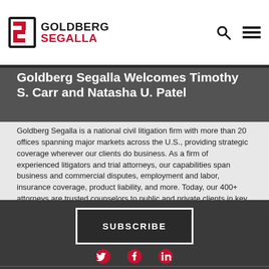[Figure (logo): Goldberg Segalla law firm logo with red and black icon and text]
Goldberg Segalla Welcomes Timothy S. Carr and Natasha U. Patel
Goldberg Segalla is a national civil litigation firm with more than 20 offices spanning major markets across the U.S., providing strategic coverage wherever our clients do business. As a firm of experienced litigators and trial attorneys, our capabilities span business and commercial disputes, employment and labor, insurance coverage, product liability, and more. Today, our 400+ attorneys are trusted counselors to public and private clients in key sectors and industries including construction and energy, transportation, manufacturing, retail and hospitality, and insurance.
SUBSCRIBE
[Figure (illustration): Social media icons: Twitter, Facebook, LinkedIn in red]